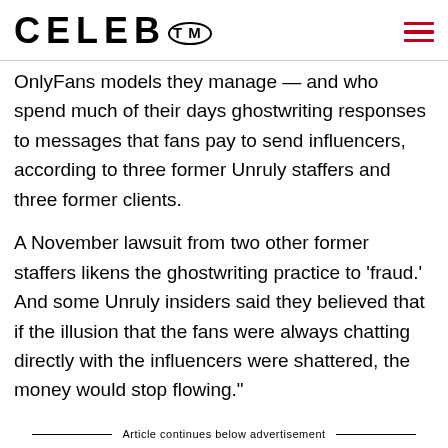CELEB™
OnlyFans models they manage — and who spend much of their days ghostwriting responses to messages that fans pay to send influencers, according to three former Unruly staffers and three former clients.
A November lawsuit from two other former staffers likens the ghostwriting practice to 'fraud.' And some Unruly insiders said they believed that if the illusion that the fans were always chatting directly with the influencers were shattered, the money would stop flowing."
Article continues below advertisement